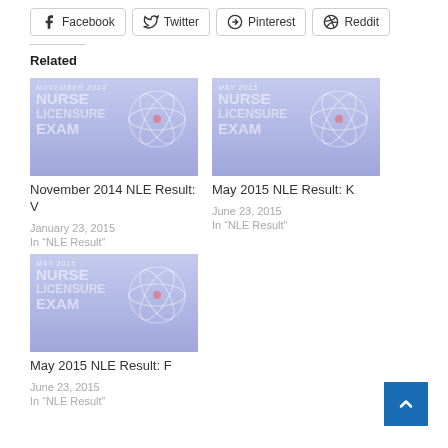[Figure (other): Social share buttons: Facebook, Twitter, Pinterest, Reddit]
Related
[Figure (photo): Thumbnail image for November 2014 Nurse Licensure Exam NLE Result]
November 2014 NLE Result: V
January 23, 2015
In “NLE Result”
[Figure (photo): Thumbnail image for May 2015 Nurse Licensure Exam NLE Result]
May 2015 NLE Result: K
June 23, 2015
In “NLE Result”
[Figure (photo): Thumbnail image for May 2015 Nurse Licensure Exam NLE Result]
May 2015 NLE Result: F
June 23, 2015
In “NLE Result”